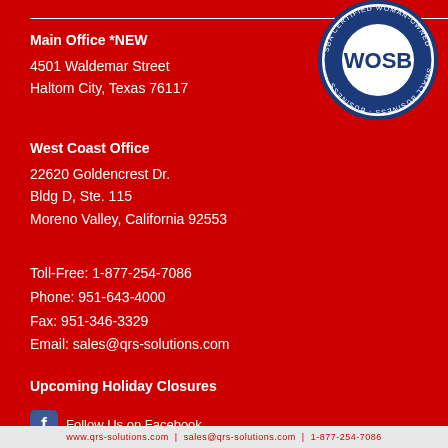[Figure (logo): WOSB (Woman-Owned Small Business) SBA certified seal - circular blue and white badge]
Main Office *NEW
4501 Waldemar Street
Haltom City, Texas 76117
West Coast Office
22620 Goldencrest Dr.
Bldg D, Ste. 115
Moreno Valley, California 92553
Toll-Free: 1-877-254-7086
Phone: 951-643-4000
Fax: 951-346-3329
Email: sales@qrs-solutions.com
Upcoming Holiday Closures
Follow Us on Facebook
Find Us on LinkedIn
www.qrs-solutions.com  |  sales@qrs-solutions.com  |  1-877-254-7086